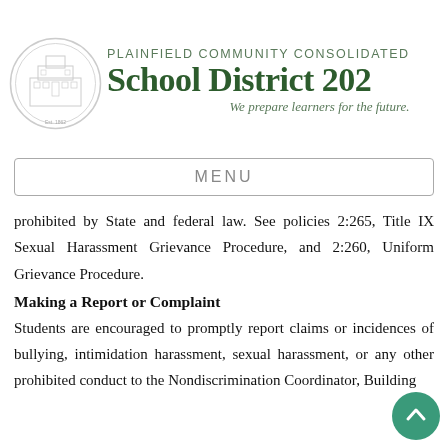PLAINFIELD COMMUNITY CONSOLIDATED SCHOOL DISTRICT 202 — We prepare learners for the future.
[Figure (logo): Plainfield Community Consolidated School District 202 circular seal/logo in light gray]
MENU
prohibited by State and federal law. See policies 2:265, Title IX Sexual Harassment Grievance Procedure, and 2:260, Uniform Grievance Procedure.
Making a Report or Complaint
Students are encouraged to promptly report claims or incidences of bullying, intimidation harassment, sexual harassment, or any other prohibited conduct to the Nondiscrimination Coordinator, Building